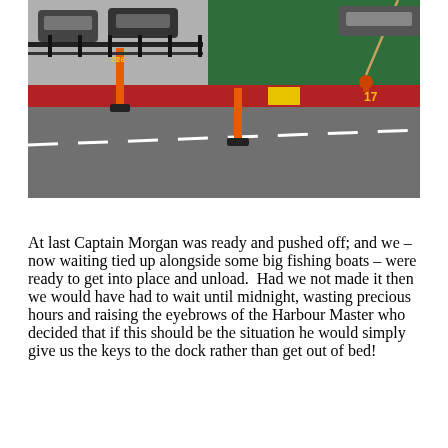[Figure (photo): Outdoor harbour/dock scene showing orange traffic bollards/delineator posts on an asphalt road surface. In the background is a large green vessel hull and a red dock/quay wall with the number 17 marked on it. Several cars are visible in a parking area behind the green vessel.]
At last Captain Morgan was ready and pushed off; and we – now waiting tied up alongside some big fishing boats – were ready to get into place and unload.  Had we not made it then we would have had to wait until midnight, wasting precious hours and raising the eyebrows of the Harbour Master who decided that if this should be the situation he would simply give us the keys to the dock rather than get out of bed!